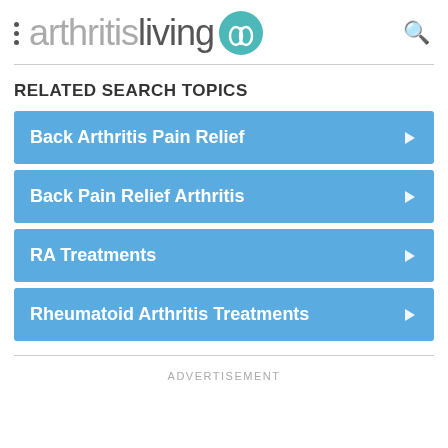arthritisliving
RELATED SEARCH TOPICS
Back Arthritis Pain Relief
Back Pain Relief Arthritis
RA Treatments
Rheumatoid Arthritis Treatments
ADVERTISEMENT